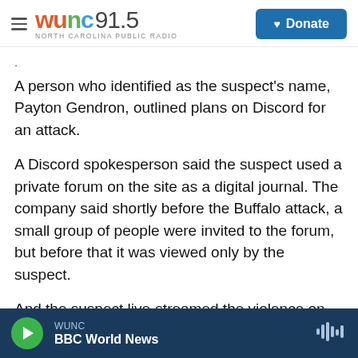WUNC 91.5 North Carolina Public Radio | Donate
A person who identified as the suspect's name, Payton Gendron, outlined plans on Discord for an attack.
A Discord spokesperson said the suspect used a private forum on the site as a digital journal. The company said shortly before the Buffalo attack, a small group of people were invited to the forum, but before that it was viewed only by the suspect.
And the suspect live-streamed the violence on Amazon-owned Twitch, which says it was able to
WUNC | BBC World News